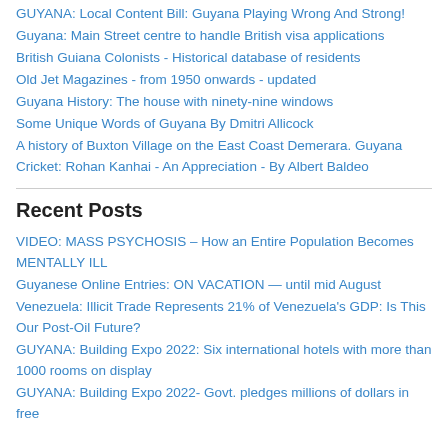GUYANA: Local Content Bill: Guyana Playing Wrong And Strong!
Guyana: Main Street centre to handle British visa applications
British Guiana Colonists - Historical database of residents
Old Jet Magazines - from 1950 onwards - updated
Guyana History: The house with ninety-nine windows
Some Unique Words of Guyana By Dmitri Allicock
A history of Buxton Village on the East Coast Demerara. Guyana
Cricket: Rohan Kanhai - An Appreciation - By Albert Baldeo
Recent Posts
VIDEO: MASS PSYCHOSIS – How an Entire Population Becomes MENTALLY ILL
Guyanese Online Entries: ON VACATION — until mid August
Venezuela: Illicit Trade Represents 21% of Venezuela's GDP: Is This Our Post-Oil Future?
GUYANA: Building Expo 2022: Six international hotels with more than 1000 rooms on display
GUYANA: Building Expo 2022- Govt. pledges millions of dollars in free